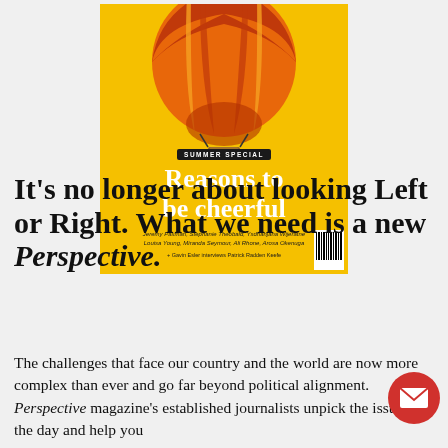[Figure (illustration): Magazine cover of 'Perspective' summer special issue titled 'Reasons to be cheerful' with a hot air balloon illustration on a yellow background. Authors listed: Jeremy Paxman, Stephanie Theobald, Ysdhanjana Wijeratne, Louisa Young, Miranda Seymour, Ali Rhone, Arosa Okenuga. Plus Gavin Esler interviews Patrick Radden Keefe.]
It's no longer about looking Left or Right. What we need is a new Perspective.
The challenges that face our country and the world are now more complex than ever and go far beyond political alignment. Perspective magazine's established journalists unpick the issues of the day and help you